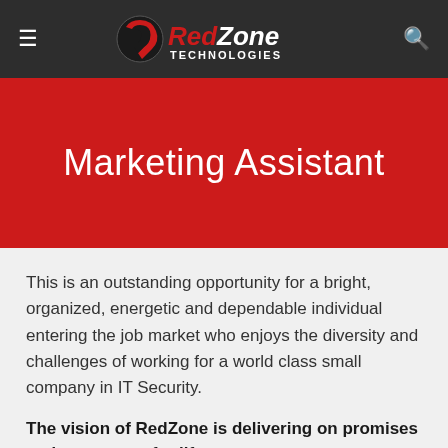RedZone Technologies
Marketing Assistant
This is an outstanding opportunity for a bright, organized, energetic and dependable individual entering the job market who enjoys the diversity and challenges of working for a world class small company in IT Security.
The vision of RedZone is delivering on promises and customers for life.
The ideal candidate must excel at collaboration, teamwork, and being a self-starter. Independence,